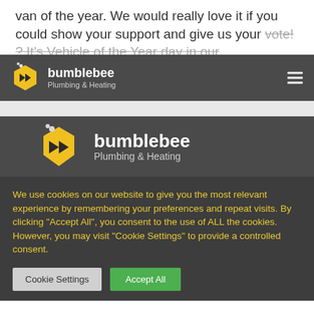van of the year. We would really love it if you could show your support and give us your vote! ? It's Vehicle of the Year day in our
[Figure (logo): Bumblebee Plumbing & Heating logo - small version in dark header bar with hamburger menu]
[Figure (logo): Bumblebee Plumbing & Heating logo - large version in dark section header bar]
We use cookies on our website to give you the most relevant experience by remembering your preferences and repeat visits. By clicking "Accept All", you consent to the use of ALL the cookies. However, you may visit "Cookie Settings" to provide a controlled consent.
Cookie Settings
Accept All